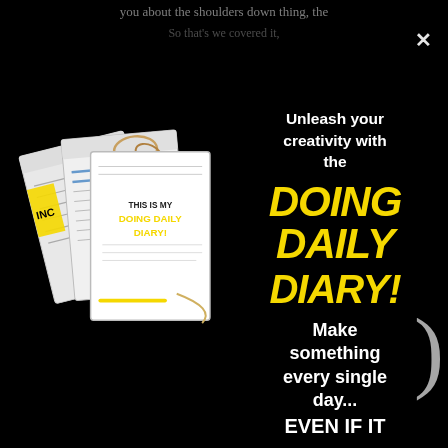you about the shoulders down thing, the
So that's we covered it,
[Figure (illustration): Mockup of multiple pages of the Doing Daily Diary product, fanned out, showing a cover page that reads THIS IS MY DOING DAILY DIARY!]
Unleash your creativity with the
DOING DAILY DIARY!
Make something every single day... EVEN IF IT